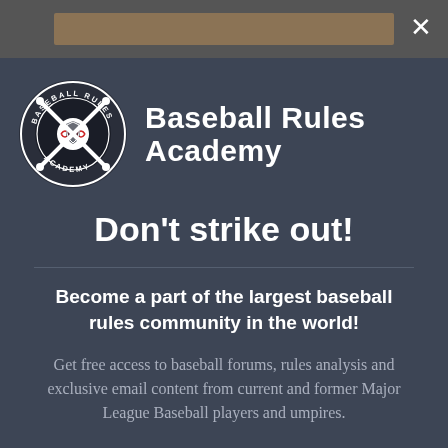[Figure (logo): Baseball Rules Academy circular logo with crossed bats and baseball in center, circular text reading BASEBALL RULES ACADEMY]
Baseball Rules Academy
Don't strike out!
Become a part of the largest baseball rules community in the world!
Get free access to baseball forums, rules analysis and exclusive email content from current and former Major League Baseball players and umpires.